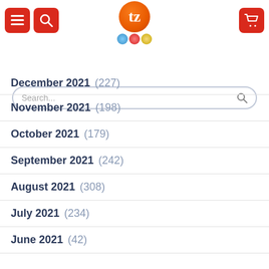[Figure (logo): Website header with hamburger menu, search icon, Tezcommerce logo (orange circle with T), three badge icons, and a red cart icon]
Search...
December 2021 (227)
November 2021 (198)
October 2021 (179)
September 2021 (242)
August 2021 (308)
July 2021 (234)
June 2021 (42)